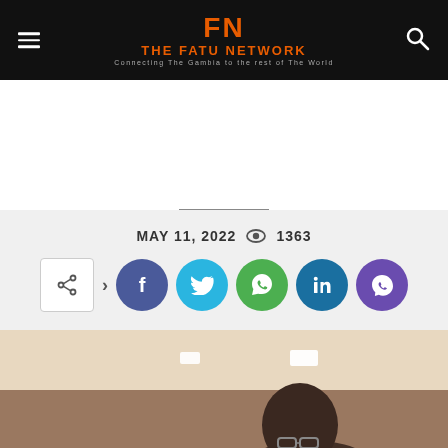FN THE FATU NETWORK - Connecting The Gambia to the rest of The World
MAY 11, 2022  👁 1363
[Figure (infographic): Social share buttons: share icon, Facebook, Twitter, WhatsApp, LinkedIn, Viber]
[Figure (photo): Photo of a man wearing glasses at an indoor event venue with ceiling lights]